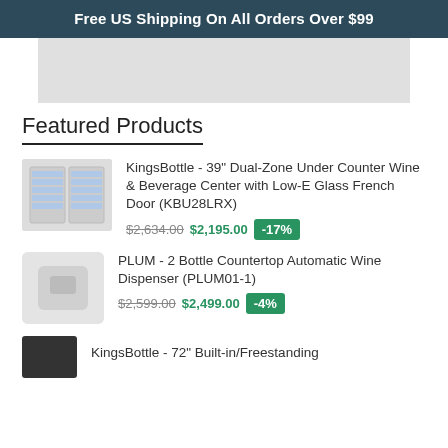Free US Shipping On All Orders Over $99
[Figure (photo): Hero banner image placeholder (gray rectangle)]
Featured Products
KingsBottle - 39" Dual-Zone Under Counter Wine & Beverage Center with Low-E Glass French Door (KBU28LRX)
$2,634.00 $2,195.00 -17%
PLUM - 2 Bottle Countertop Automatic Wine Dispenser (PLUM01-1)
$2,599.00 $2,499.00 -4%
KingsBottle - 72" Built-in/Freestanding